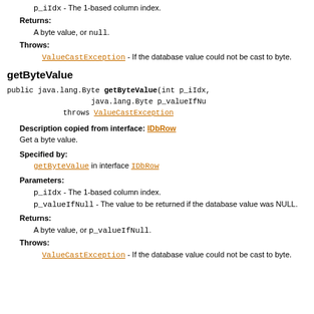p_iIdx - The 1-based column index.
Returns:
A byte value, or null.
Throws:
ValueCastException - If the database value could not be cast to byte.
getByteValue
public java.lang.Byte getByteValue(int p_iIdx, java.lang.Byte p_valueIfNull) throws ValueCastException
Description copied from interface: IDbRow
Get a byte value.
Specified by:
getByteValue in interface IDbRow
Parameters:
p_iIdx - The 1-based column index.
p_valueIfNull - The value to be returned if the database value was NULL.
Returns:
A byte value, or p_valueIfNull.
Throws:
ValueCastException - If the database value could not be cast to byte.